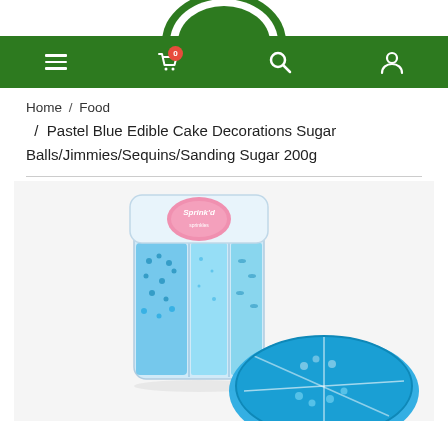[Figure (logo): Green circular logo partially visible at top]
Navigation bar with menu, cart (0), search, and account icons on green background
Home / Food / Pastel Blue Edible Cake Decorations Sugar Balls/Jimmies/Sequins/Sanding Sugar 200g
[Figure (photo): Sprink'd brand pastel blue edible cake decorations product — a multi-compartment container with blue sugar balls, sequins, and sanding sugar, with a round tray showing the contents in the foreground, on a white background.]